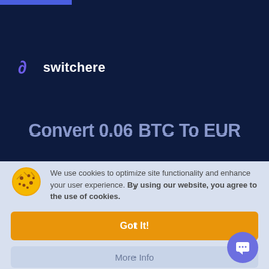[Figure (logo): Switchere logo with purple stylized 'S' icon and white text 'switchere' on dark navy background]
Convert 0.06 BTC To EUR
We use cookies to optimize site functionality and enhance your user experience. By using our website, you agree to the use of cookies.
Got It!
More Info